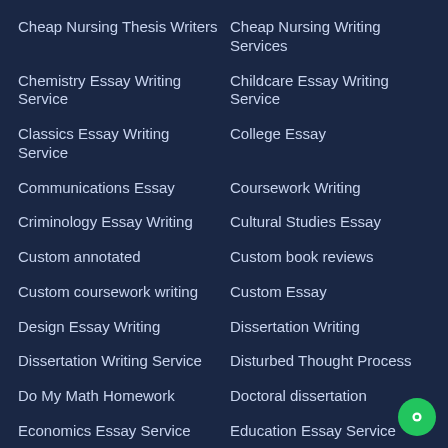Cheap Nursing Thesis Writers
Cheap Nursing Writing Services
Chemistry Essay Writing Service
Childcare Essay Writing Service
Classics Essay Writing Service
College Essay
Communications Essay
Coursework Writing
Criminology Essay Writing
Cultural Studies Essay
Custom annotated
Custom book reviews
Custom coursework writing
Custom Essay
Design Essay Writing
Dissertation Writing
Dissertation Writing Service
Disturbed Thought Process
Do My Math Homework
Doctoral dissertation
Economics Essay Service
Education Essay Service